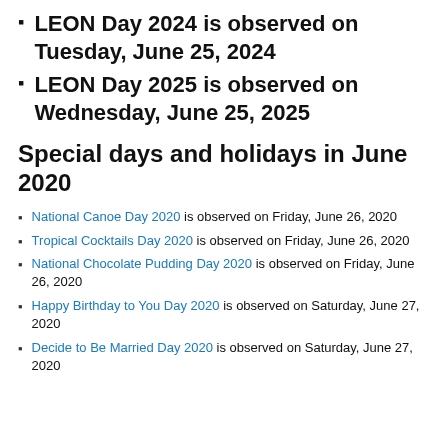LEON Day 2024 is observed on Tuesday, June 25, 2024
LEON Day 2025 is observed on Wednesday, June 25, 2025
Special days and holidays in June 2020
National Canoe Day 2020 is observed on Friday, June 26, 2020
Tropical Cocktails Day 2020 is observed on Friday, June 26, 2020
National Chocolate Pudding Day 2020 is observed on Friday, June 26, 2020
Happy Birthday to You Day 2020 is observed on Saturday, June 27, 2020
Decide to Be Married Day 2020 is observed on Saturday, June 27, 2020